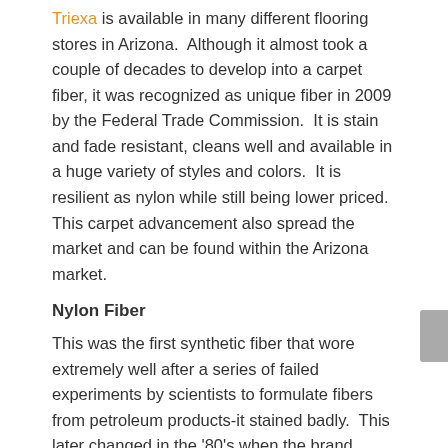Triexa is available in many different flooring stores in Arizona. Although it almost took a couple of decades to develop into a carpet fiber, it was recognized as unique fiber in 2009 by the Federal Trade Commission. It is stain and fade resistant, cleans well and available in a huge variety of styles and colors. It is resilient as nylon while still being lower priced. This carpet advancement also spread the market and can be found within the Arizona market.
Nylon Fiber
This was the first synthetic fiber that wore extremely well after a series of failed experiments by scientists to formulate fibers from petroleum products-it stained badly. This later changed in the '80's when the brand Stainmaster nylon hit the market including Arizona. It enabled light colors to be put on carpets in heavily used rooms with easy maintenance. It is very resistant and comes in a variety of colors and styles. It can most